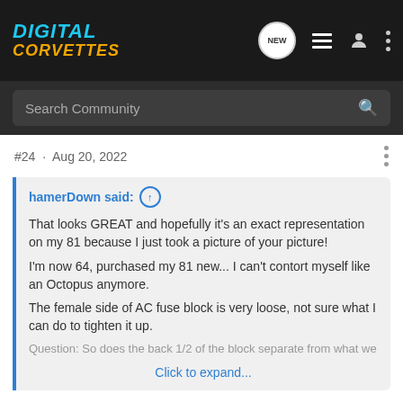DIGITAL CORVETTES
#24 · Aug 20, 2022
hamerDown said: ↑
That looks GREAT and hopefully it's an exact representation on my 81 because I just took a picture of your picture!
I'm now 64, purchased my 81 new... I can't contort myself like an Octopus anymore.
The female side of AC fuse block is very loose, not sure what I can do to tighten it up.
Question: So does the back 1/2 of the block separate from what we
Click to expand...
Hammer down
Don't know if someone answers you but yes the engine side has a 3/8" hex head bolt in center. It holds the engine side